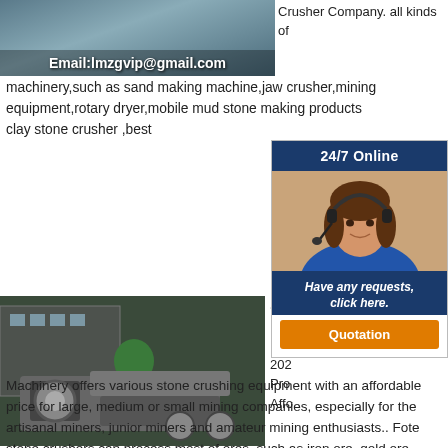[Figure (photo): Industrial machinery/equipment photo with email overlay text: Email:lmzgvip@gmail.com]
Crusher Company. all kinds of machinery,such as sand making machine,jaw crusher,mining equipment,rotary dryer,mobile mud stone making products clay stone crusher ,best
[Figure (other): Sidebar widget with '24/7 Online' header, customer service representative photo, 'Have any requests, click here.' CTA, and 'Quotation' button]
[Figure (photo): Mobile stone crusher / mining equipment photo with email overlay text: Email:lmzgvip@gmail.com]
Stone Crushing Equipment Machinery offers 2020... Proc... Affo... Machinery offers various stone crushing equipment with an affordable price for large, medium or small mining companies, especially for the artisanal miners, junior miners and amateur mining enthusiasts.. Fote stone crushers can process most of ores, such as iron ore, gold ore, limestone, quartz, river pebble,